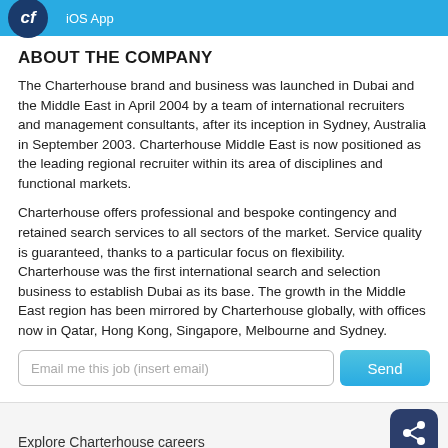iOS App
ABOUT THE COMPANY
The Charterhouse brand and business was launched in Dubai and the Middle East in April 2004 by a team of international recruiters and management consultants, after its inception in Sydney, Australia in September 2003. Charterhouse Middle East is now positioned as the leading regional recruiter within its area of disciplines and functional markets.
Charterhouse offers professional and bespoke contingency and retained search services to all sectors of the market. Service quality is guaranteed, thanks to a particular focus on flexibility. Charterhouse was the first international search and selection business to establish Dubai as its base. The growth in the Middle East region has been mirrored by Charterhouse globally, with offices now in Qatar, Hong Kong, Singapore, Melbourne and Sydney.
Email me this job (insert email)
Send
Explore Charterhouse careers